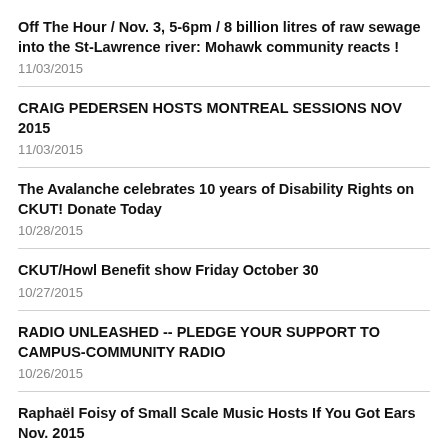Off The Hour / Nov. 3, 5-6pm / 8 billion litres of raw sewage into the St-Lawrence river: Mohawk community reacts !
11/03/2015
CRAIG PEDERSEN HOSTS MONTREAL SESSIONS NOV 2015
11/03/2015
The Avalanche celebrates 10 years of Disability Rights on CKUT! Donate Today
10/28/2015
CKUT/Howl Benefit show Friday October 30
10/27/2015
RADIO UNLEASHED -- PLEDGE YOUR SUPPORT TO CAMPUS-COMMUNITY RADIO
10/26/2015
Raphaël Foisy of Small Scale Music Hosts If You Got Ears Nov. 2015
10/26/2015